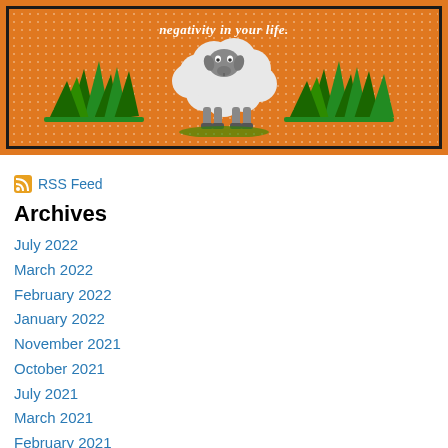[Figure (illustration): Orange background banner with cartoon sheep standing on grass, with italic text 'negativity in your life.' at the top, dotted pattern overlay, black border frame]
RSS Feed
Archives
July 2022
March 2022
February 2022
January 2022
November 2021
October 2021
July 2021
March 2021
February 2021
January 2021